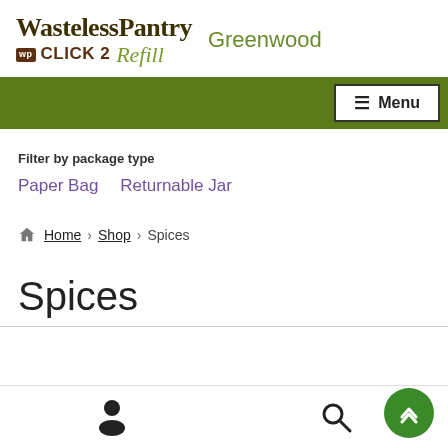WastelessPantry CLICK 2 Refill Greenwood
Filter by package type
Paper Bag
Returnable Jar
Home > Shop > Spices
Spices